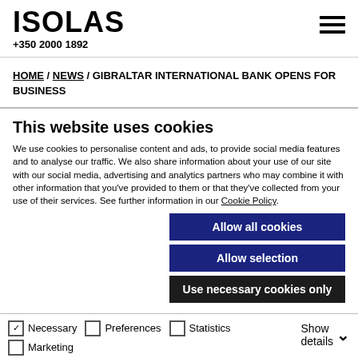ISOLAS +350 2000 1892
HOME / NEWS / GIBRALTAR INTERNATIONAL BANK OPENS FOR BUSINESS
This website uses cookies
We use cookies to personalise content and ads, to provide social media features and to analyse our traffic. We also share information about your use of our site with our social media, advertising and analytics partners who may combine it with other information that you've provided to them or that they've collected from your use of their services. See further information in our Cookie Policy.
Allow all cookies
Allow selection
Use necessary cookies only
Necessary  Preferences  Statistics  Marketing  Show details